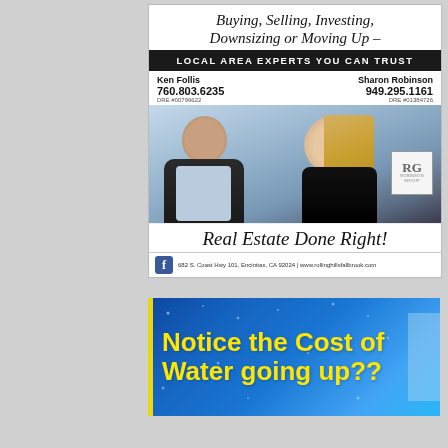[Figure (advertisement): Real estate advertisement for Ken Follis and Sharon Robinson. Tagline: Buying, Selling, Investing, Downsizing or Moving Up. Banner: LOCAL AREA EXPERTS YOU CAN TRUST. Ken Follis 760.803.6235 DRE #00799622, Sharon Robinson 949.295.1161 DRE #01384726. Photo of two agents. Slogan: Real Estate Done Right! Address: 682 S. Coast Hwy 101, Encinitas, CA 92024 | www.rollinghillsfallbrook.com]
[Figure (advertisement): Water cost advertisement with blue background. Headline: Notice the Cost of Water going up??]